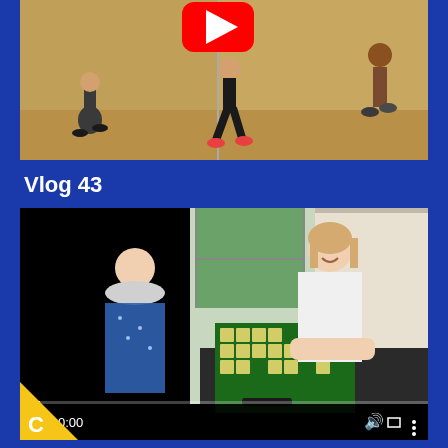[Figure (screenshot): Video thumbnail showing children running/dancing in a gym/hall with a YouTube play button overlay at top]
Vlog 43
[Figure (screenshot): Video player showing two women playing Scrabble at a table, one in a blue floral dress and one in a white sweater. Video controls show 0:00 timestamp at bottom. A yellow corner badge with 'C' appears at bottom-left.]